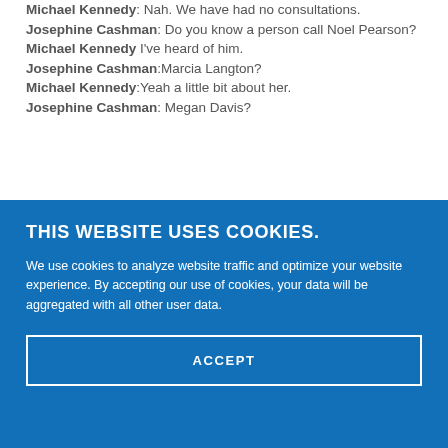Michael Kennedy: Nah. We have had no consultations.
Josephine Cashman: Do you know a person call Noel Pearson?
Michael Kennedy I've heard of him.
Josephine Cashman:Marcia Langton?
Michael Kennedy:Yeah a little bit about her.
Josephine Cashman: Megan Davis?
THIS WEBSITE USES COOKIES.
We use cookies to analyze website traffic and optimize your website experience. By accepting our use of cookies, your data will be aggregated with all other user data.
ACCEPT